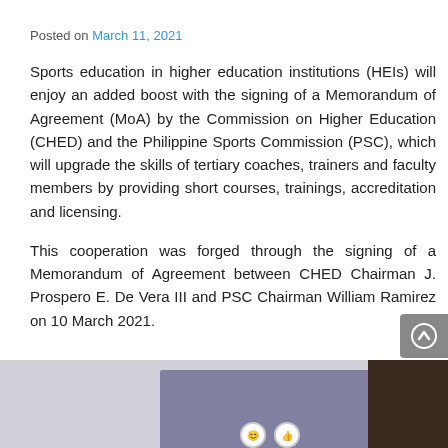Posted on March 11, 2021
Sports education in higher education institutions (HEIs) will enjoy an added boost with the signing of a Memorandum of Agreement (MoA) by the Commission on Higher Education (CHED) and the Philippine Sports Commission (PSC), which will upgrade the skills of tertiary coaches, trainers and faculty members by providing short courses, trainings, accreditation and licensing.
This cooperation was forged through the signing of a Memorandum of Agreement between CHED Chairman J. Prospero E. De Vera III and PSC Chairman William Ramirez on 10 March 2021.
[Figure (photo): Photo showing a signing ceremony event with a purple banner backdrop; partially visible image at the bottom of the page.]